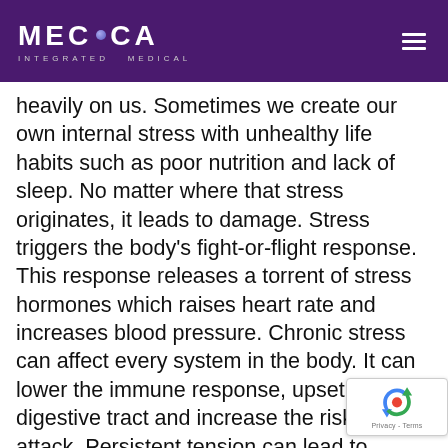MECCA INTEGRATED MEDICAL
heavily on us. Sometimes we create our own internal stress with unhealthy life habits such as poor nutrition and lack of sleep. No matter where that stress originates, it leads to damage. Stress triggers the body's fight-or-flight response. This response releases a torrent of stress hormones which raises heart rate and increases blood pressure. Chronic stress can affect every system in the body. It can lower the immune response, upset the digestive tract and increase the risk of heart attack. Persistent tension can lead to muscles being in a constant state of contraction. This can cause the spine to become subluxated, which in turn interferes with the nervous system functioning properly.